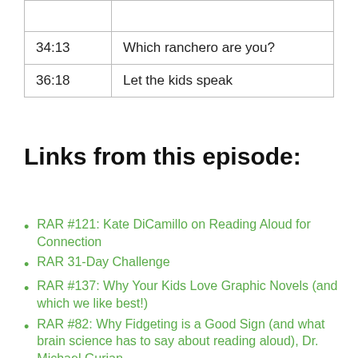|  |  |
| 34:13 | Which ranchero are you? |
| 36:18 | Let the kids speak |
Links from this episode:
RAR #121: Kate DiCamillo on Reading Aloud for Connection
RAR 31-Day Challenge
RAR #137: Why Your Kids Love Graphic Novels (and which we like best!)
RAR #82: Why Fidgeting is a Good Sign (and what brain science has to say about reading aloud), Dr. Michael Gurian
RAR #122: Picture Book Biographies We Love
Quiz: Are you a Raymie, a Louisiana or a Beverly?